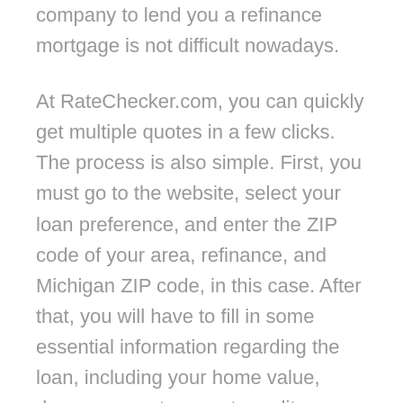company to lend you a refinance mortgage is not difficult nowadays.
At RateChecker.com, you can quickly get multiple quotes in a few clicks. The process is also simple. First, you must go to the website, select your loan preference, and enter the ZIP code of your area, refinance, and Michigan ZIP code, in this case. After that, you will have to fill in some essential information regarding the loan, including your home value, down payment amount, credit score, and other documentation. Once you fill all these up, the best banks and lenders available will send you their best quotes available according to your requirement.
You will get information about all these quotes free of cost, and you do not have to accept any quotes. It is totally up to you – you can walk away or take any of the quotes that suit you. Besides, all these quotes are tailored to your requirements, and they will meet your needs. The best